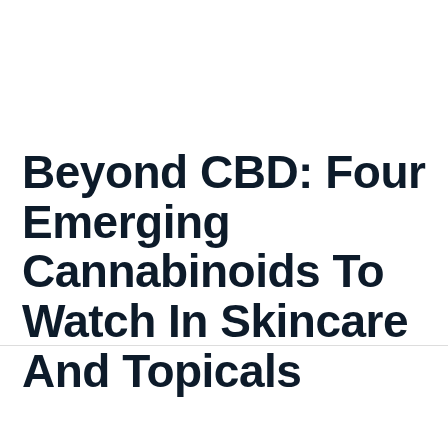Beyond CBD: Four Emerging Cannabinoids To Watch In Skincare And Topicals
As more brands dive into topicals, here's what you need to know about the booming CBD trend.
By  Dr. Andrea Holmes
Opinions expressed by Entrepreneur contributors are their own.